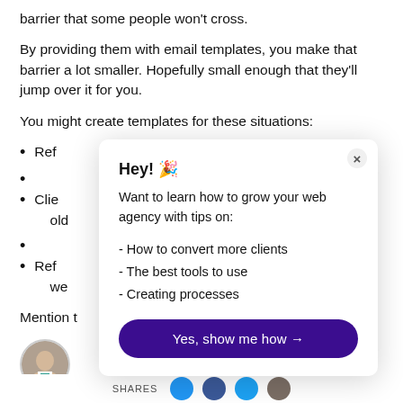barrier that some people won't cross.
By providing them with email templates, you make that barrier a lot smaller. Hopefully small enough that they'll jump over it for you.
You might create templates for these situations:
Ref
Clie
old
Ref
we
Mention t
[Figure (photo): Avatar photo of a man in a white shirt with a teal tie]
[Figure (infographic): Modal popup: Hey! 🎉 Want to learn how to grow your web agency with tips on: - How to convert more clients - The best tools to use - Creating processes. Button: Yes, show me how →]